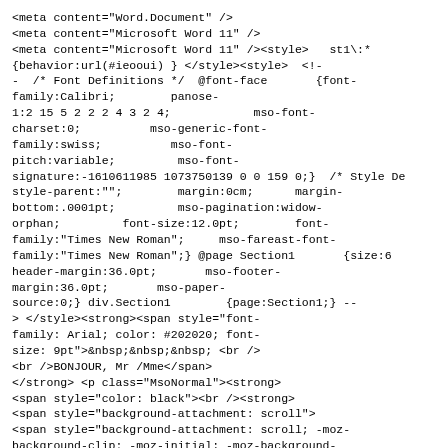<meta content="Word.Document" />
<meta content="Microsoft Word 11" />
<meta content="Microsoft Word 11" /><style>  st1\:*
{behavior:url(#ieooui) } </style><style>  <!-
-  /* Font Definitions */  @font-face      {font-
family:Calibri;        panose-
1:2 15 5 2 2 2 4 3 2 4;           mso-font-
charset:0;         mso-generic-font-
family:swiss;          mso-font-
pitch:variable;        mso-font-
signature:-1610611985 1073750139 0 0 159 0;}  /* Style De
style-parent:"";       margin:0cm;     margin-
bottom:.0001pt;        mso-pagination:widow-
orphan;        font-size:12.0pt;       font-
family:"Times New Roman";    mso-fareast-font-
family:"Times New Roman";} @page Section1      {size:6
header-margin:36.0pt;      mso-footer-
margin:36.0pt;     mso-paper-
source:0;} div.Section1       {page:Section1;} --
> </style><strong><span style="font-
family: Arial; color: #202020; font-
size: 9pt">&nbsp;&nbsp;&nbsp; <br />
<br />BONJOUR, Mr /Mme</span>
</strong> <p class="MsoNormal"><strong>
<span style="color: black"><br /><strong>
<span style="background-attachment: scroll">
<span style="background-attachment: scroll; -moz-
background-clip: -moz-initial; -moz-background-
origin: -moz-initial; -moz-background-inline-policy: -
moz-initial">